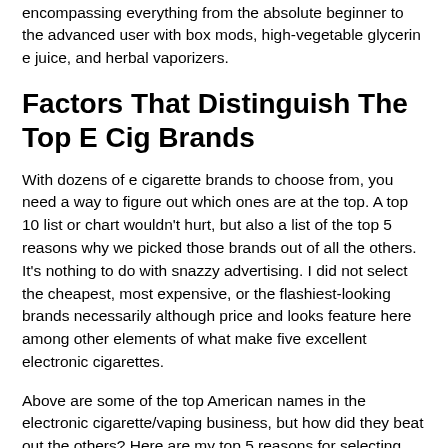encompassing everything from the absolute beginner to the advanced user with box mods, high-vegetable glycerin e juice, and herbal vaporizers.
Factors That Distinguish The Top E Cig Brands
With dozens of e cigarette brands to choose from, you need a way to figure out which ones are at the top. A top 10 list or chart wouldn't hurt, but also a list of the top 5 reasons why we picked those brands out of all the others. It's nothing to do with snazzy advertising. I did not select the cheapest, most expensive, or the flashiest-looking brands necessarily although price and looks feature here among other elements of what make five excellent electronic cigarettes.
Above are some of the top American names in the electronic cigarette/vaping business, but how did they beat out the others? Here are my top 5 reasons for selecting the top picks.